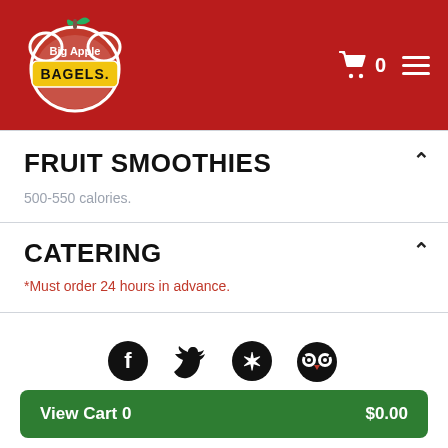[Figure (logo): Big Apple Bagels logo: red apple shape with green leaf, white text 'Big Apple' above a yellow badge with black text 'BAGELS.']
FRUIT SMOOTHIES
500-550 calories.
CATERING
*Must order 24 hours in advance.
[Figure (illustration): Social media icons: Facebook, Twitter, Yelp, TripAdvisor]
View Cart 0   $0.00